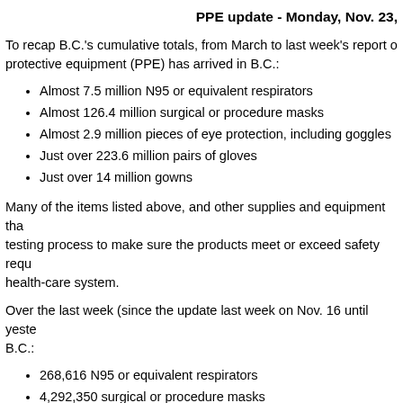PPE update - Monday, Nov. 23,
To recap B.C.'s cumulative totals, from March to last week's report of protective equipment (PPE) has arrived in B.C.:
Almost 7.5 million N95 or equivalent respirators
Almost 126.4 million surgical or procedure masks
Almost 2.9 million pieces of eye protection, including goggles
Just over 223.6 million pairs of gloves
Just over 14 million gowns
Many of the items listed above, and other supplies and equipment that testing process to make sure the products meet or exceed safety requirements health-care system.
Over the last week (since the update last week on Nov. 16 until yesterday B.C.:
268,616 N95 or equivalent respirators
4,292,350 surgical or procedure masks
5,100 pieces of eye protection
11,780,550 pairs of gloves
1,023,275 gowns